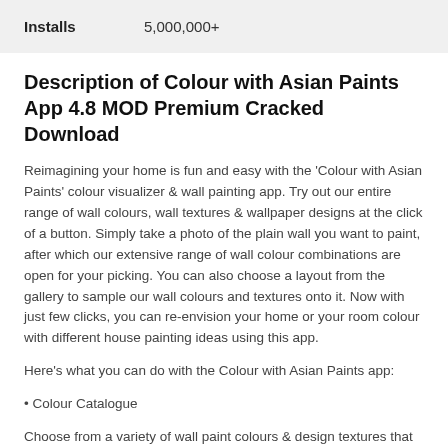| Installs |  |
| --- | --- |
| Installs | 5,000,000+ |
Description of Colour with Asian Paints App 4.8 MOD Premium Cracked Download
Reimagining your home is fun and easy with the ‘Colour with Asian Paints’ colour visualizer & wall painting app. Try out our entire range of wall colours, wall textures & wallpaper designs at the click of a button. Simply take a photo of the plain wall you want to paint, after which our extensive range of wall colour combinations are open for your picking. You can also choose a layout from the gallery to sample our wall colours and textures onto it. Now with just few clicks, you can re-envision your home or your room colour with different house painting ideas using this app.
Here’s what you can do with the Colour with Asian Paints app:
• Colour Catalogue
Choose from a variety of wall paint colours & design textures that help you reimagine your home into one you’ve only dreamt of. Select